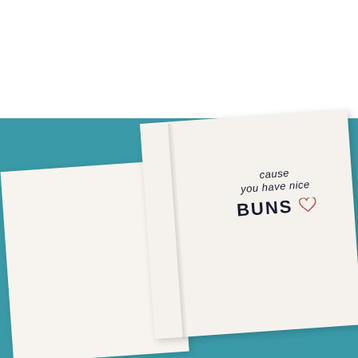[Figure (photo): An open greeting card photographed from above on a teal background. The card is open showing two pages — a blank left page and a right page with handwritten-style text reading 'cause you have nice BUNS' with a small pink heart illustration. The top portion of the image has a white background.]